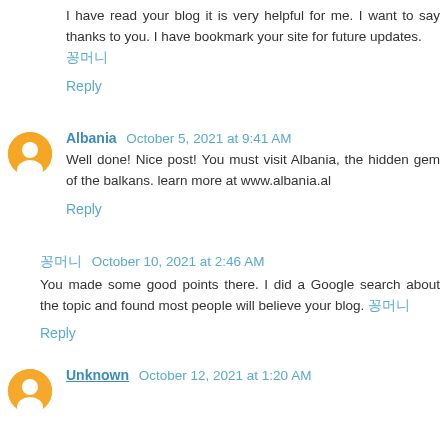I have read your blog it is very helpful for me. I want to say thanks to you. I have bookmark your site for future updates. 꽁머니
Reply
Albania  October 5, 2021 at 9:41 AM
Well done! Nice post! You must visit Albania, the hidden gem of the balkans. learn more at www.albania.al
Reply
꽁머니  October 10, 2021 at 2:46 AM
You made some good points there. I did a Google search about the topic and found most people will believe your blog. 꽁머니
Reply
Unknown  October 12, 2021 at 1:20 AM